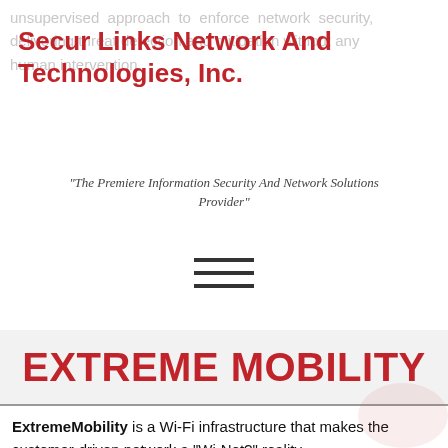unsupervised approach to enforce network security, delivering threat detection and mitigation without any human intervention.
Secur Links Network And Technologies, Inc.
"The Premiere Information Security And Network Solutions Provider"
[Figure (other): Hamburger menu icon with three horizontal lines]
EXTREME MOBILITY
ExtremeMobility is a Wi-Fi infrastructure that makes the customer-driven network a "Wi-Not?" reality.
Designed to leverage the performance improvements